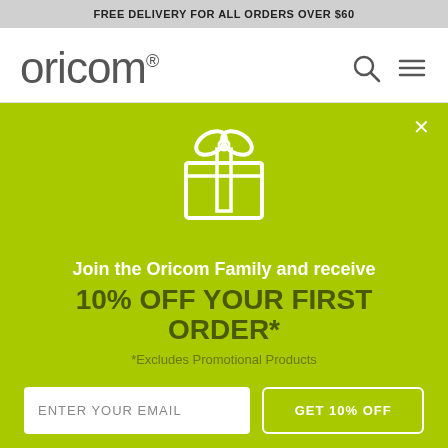FREE DELIVERY FOR ALL ORDERS OVER $60
[Figure (logo): Oricom logo - stylized lowercase text 'oricom.' with registered trademark symbol, search icon and hamburger menu icon on the right]
[Figure (illustration): White outline gift box icon with bow on lime green background, with X close button in top right corner]
Join the Oricom Family and receive
10% OFF YOUR FIRST ORDER*
*Excludes Promotional Products
ENTER YOUR EMAIL
GET 10% OFF